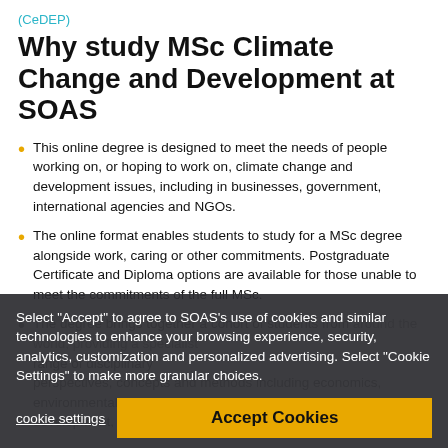(CeDEP)
Why study MSc Climate Change and Development at SOAS
This online degree is designed to meet the needs of people working on, or hoping to work on, climate change and development issues, including in businesses, government, international agencies and NGOs.
The online format enables students to study for a MSc degree alongside work, caring or other commitments. Postgraduate Certificate and Diploma options are available for those unable to meet the commitments of the full MSc.
The degree brings together a cohort of students from [partially obscured by cookie banner] specialist [range of disciplinary perspectives, concepts and methods including economics, environmental science, development, political economy and environmental law.
Select "Accept" to agree to SOAS's use of cookies and similar technologies to enhance your browsing experience, security, analytics, customization and personalized advertising. Select "Cookie Settings" to make more granular choices.
cookie settings | Accept Cookies